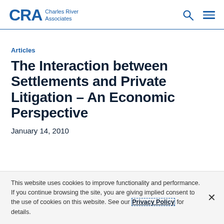CRA Charles River Associates
Articles
The Interaction between Settlements and Private Litigation – An Economic Perspective
January 14, 2010
This website uses cookies to improve functionality and performance. If you continue browsing the site, you are giving implied consent to the use of cookies on this website. See our Privacy Policy for details.